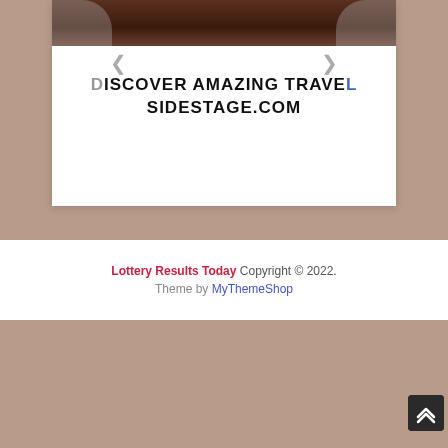[Figure (screenshot): A website slideshow widget showing 'DISCOVER AMAZING TRAVEL SIDESTAGE.COM' text with navigation arrows on a white card background, with image at top]
Lottery Results Today Copyright © 2022. Theme by MyThemeShop
[Figure (screenshot): Advertising banner grid showing Japan travel images and text 'DISCOVER AMAZING TRAVEL SIDESTAGE.COM' repeated in 2x3 grid layout]